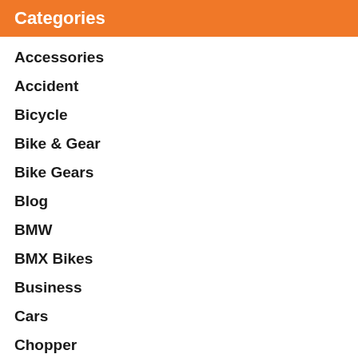Categories
Accessories
Accident
Bicycle
Bike & Gear
Bike Gears
Blog
BMW
BMX Bikes
Business
Cars
Chopper
Concept
Dirt Biking